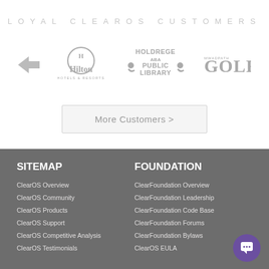LOYAL CLEAROS CUSTOMERS
[Figure (logo): Row of customer logos: a chevron/arrow icon, Hilton Hotels & Resorts, Holdrege Public Library, and Mwadpath Golf logos displayed in grayscale]
More Customers >
SITEMAP
FOUNDATION
ClearOS Overview
ClearFoundation Overview
ClearOS Community
ClearFoundation Leadership
ClearOS Products
ClearFoundation Code Base
ClearOS Support
ClearFoundation Forums
ClearOS Competitive Analysis
ClearFoundation Bylaws
ClearOS Testimonials
ClearOS EULA